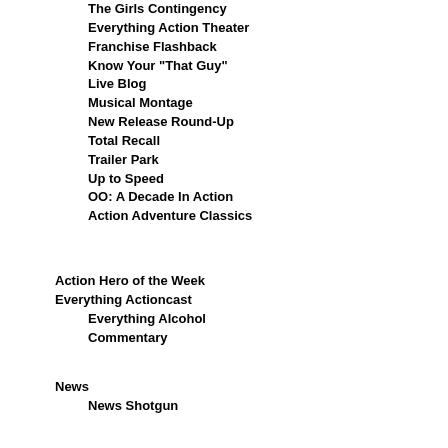The Girls Contingency
Everything Action Theater
Franchise Flashback
Know Your "That Guy"
Live Blog
Musical Montage
New Release Round-Up
Total Recall
Trailer Park
Up to Speed
OO: A Decade In Action
Action Adventure Classics
Action Hero of the Week
Everything Actioncast
Everything Alcohol
Commentary
News
News Shotgun